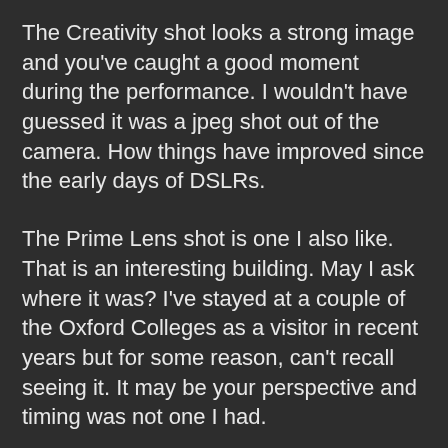The Creativity shot looks a strong image and you've caught a good moment during the performance. I wouldn't have guessed it was a jpeg shot out of the camera. How things have improved since the early days of DSLRs.
The Prime Lens shot is one I also like. That is an interesting building. May I ask where it was? I've stayed at a couple of the Oxford Colleges as a visitor in recent years but for some reason, can't recall seeing it. It may be your perspective and timing was not one I had.